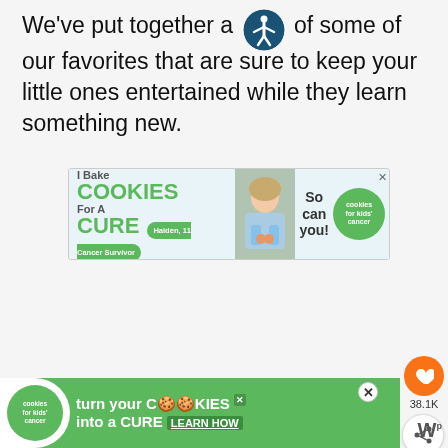We've put together a [accessibility icon] of some of our favorites that are sure to keep your little ones entertained while they learn something new.
[Figure (screenshot): Advertisement banner for 'Cookies for Kids Cancer' charity. Text reads 'I Bake COOKIES For A CURE' with a pill badge 'Haiden, 11 Cancer Survivor' and 'So can you!' with green cookies logo circle. Close X in top right.]
[Figure (screenshot): Bottom advertisement banner for 'Cookies for Kids Cancer'. Green background with white circle logo on left, text reads 'turn your COOKIES into a CURE LEARN HOW'. Close X button. Watermark W logo bottom right.]